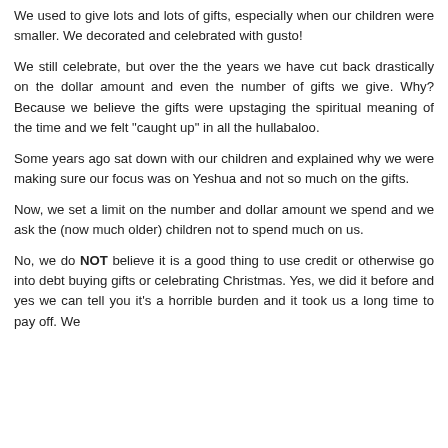We used to give lots and lots of gifts, especially when our children were smaller. We decorated and celebrated with gusto!
We still celebrate, but over the the years we have cut back drastically on the dollar amount and even the number of gifts we give. Why? Because we believe the gifts were upstaging the spiritual meaning of the time and we felt "caught up" in all the hullabaloo.
Some years ago sat down with our children and explained why we were making sure our focus was on Yeshua and not so much on the gifts.
Now, we set a limit on the number and dollar amount we spend and we ask the (now much older) children not to spend much on us.
No, we do NOT believe it is a good thing to use credit or otherwise go into debt buying gifts or celebrating Christmas. Yes, we did it before and yes we can tell you it's a horrible burden and it took us a long time to pay off. We...